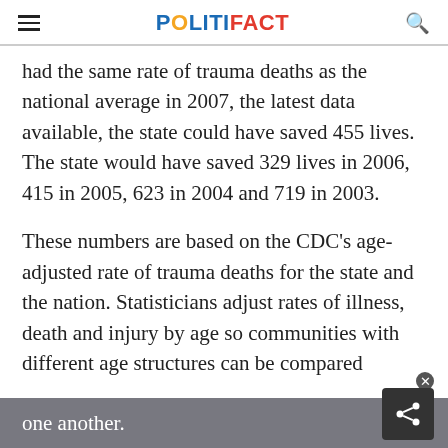POLITIFACT
had the same rate of trauma deaths as the national average in 2007, the latest data available, the state could have saved 455 lives. The state would have saved 329 lives in 2006, 415 in 2005, 623 in 2004 and 719 in 2003.
These numbers are based on the CDC's age-adjusted rate of trauma deaths for the state and the nation. Statisticians adjust rates of illness, death and injury by age so communities with different age structures can be compared one another.